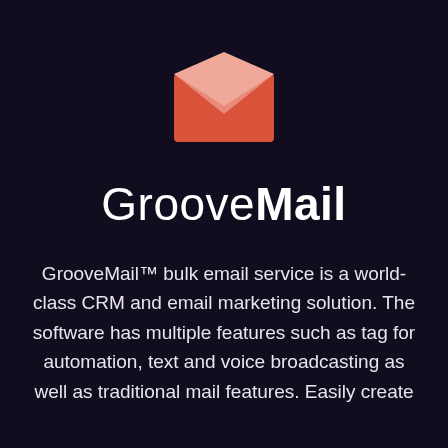[Figure (logo): GrooveMail envelope icon: a coral/salmon-red rectangle envelope with a lighter pink triangular flap at the top center]
GrooveMail
GrooveMail™ bulk email service is a world-class CRM and email marketing solution. The software has multiple features such as tag for automation, text and voice broadcasting as well as traditional mail features. Easily create